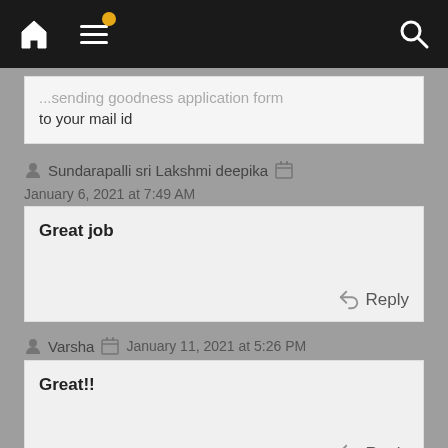Navigation bar with home, menu, and search icons
...sending goodness application form to your mail id
Sundarapalli sri Lakshmi deepika  January 6, 2021 at 7:49 AM
Great job
Reply
Varsha  January 11, 2021 at 5:26 PM
Great!!
Reply
Archana  January 11, 2021 at 9:13 PM